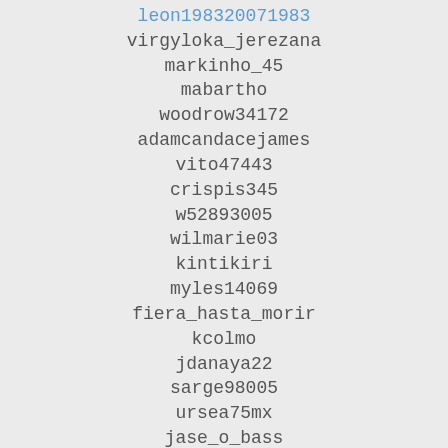leon198320071983
virgyloka_jerezana
markinho_45
mabartho
woodrow34172
adamcandacejames
vito47443
crispis345
w52893005
wilmarie03
kintikiri
myles14069
fiera_hasta_morir
kcolmo
jdanaya22
sarge98005
ursea75mx
jase_o_bass
uptopkid92
veranajla
thegiftedone24
namoee1992
veitsman.olya
mosia111277